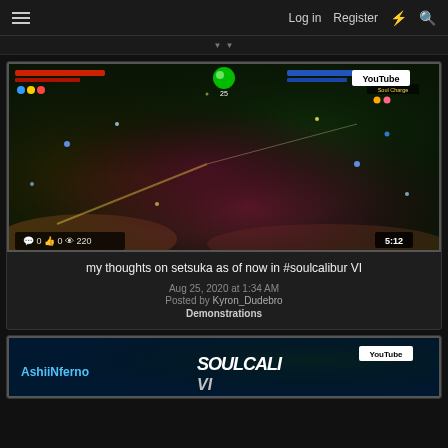Log in  Register
[Figure (screenshot): YouTube video thumbnail showing a Soul Calibur VI gameplay screenshot with a female character in dark armor, health bars at top, with overlaid stats: 0 comments, 0 likes, 220 views, duration 5:12]
my thoughts on setsuka as of now in #soulcalibur VI
Aug 25, 2020 at 1:34 AM
Posted by Kyron_Dudebro
Demonstrations
[Figure (screenshot): YouTube video thumbnail showing AshiiNferno and SoulCalibur VI logo]